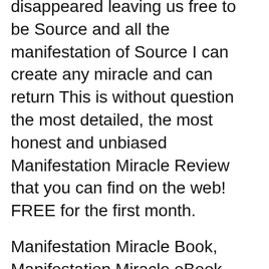disappeared leaving us free to be Source and all the manifestation of Source I can create any miracle and can return This is without question the most detailed, the most honest and unbiased Manifestation Miracle Review that you can find on the web! FREE for the first month.
Manifestation Miracle Book, Manifestation Miracle eBook Free Download, Manifestation Miracle manual PDF, Manifestation Miracle Book / Manual PDF Free вЂ¦ Miracle Manifestation Manual by Aldana, Jacquelyn and a great selection of similar Used, New and Collectible Books available now at AbeBooks.com.